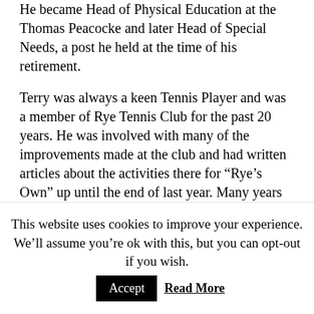He became Head of Physical Education at the Thomas Peacocke and later Head of Special Needs, a post he held at the time of his retirement.
Terry was always a keen Tennis Player and was a member of Rye Tennis Club for the past 20 years. He was involved with many of the improvements made at the club and had written articles about the activities there for “Rye’s Own” up until the end of last year. Many years age, back in the seventies, it was Terry Spencer who wrote our “S...
This website uses cookies to improve your experience. We'll assume you're ok with this, but you can opt-out if you wish. Accept Read More